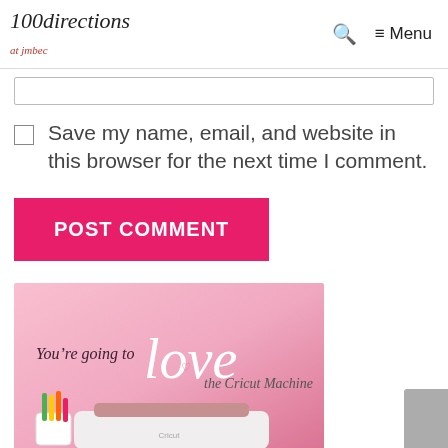100directions at jmbec  🔍  ≡ Menu
Save my name, email, and website in this browser for the next time I comment.
POST COMMENT
[Figure (photo): Promotional image for the Cricut Machine on a pink background with text 'You're going to love the Cricut Machine' and a Cricut machine shown at the bottom with colorful pens.]